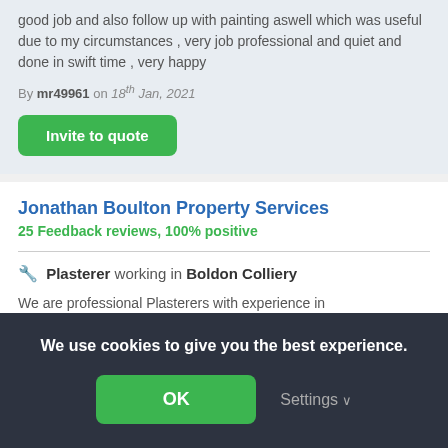good job and also follow up with painting aswell which was useful due to my circumstances , very job professional and quiet and done in swift time , very happy
By mr49961 on 18th Jan, 2021
Invite to quote
Jonathan Boulton Property Services
25 Feedback reviews, 100% positive
Plasterer working in Boldon Colliery
We are professional Plasterers with experience in
We use cookies to give you the best experience.
OK
Settings